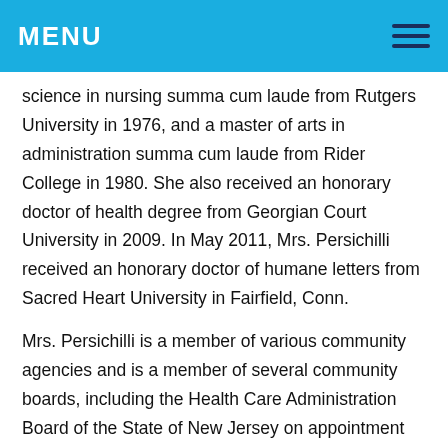MENU
science in nursing summa cum laude from Rutgers University in 1976, and a master of arts in administration summa cum laude from Rider College in 1980. She also received an honorary doctor of health degree from Georgian Court University in 2009. In May 2011, Mrs. Persichilli received an honorary doctor of humane letters from Sacred Heart University in Fairfield, Conn.
Mrs. Persichilli is a member of various community agencies and is a member of several community boards, including the Health Care Administration Board of the State of New Jersey on appointment by the Governor. She also serves on the Board of Directors of the New Jersey Health Care Quality Institute; the Kerney Foundation Board of Trustees; the Board of Georgian Court University; the Board of the Catholic